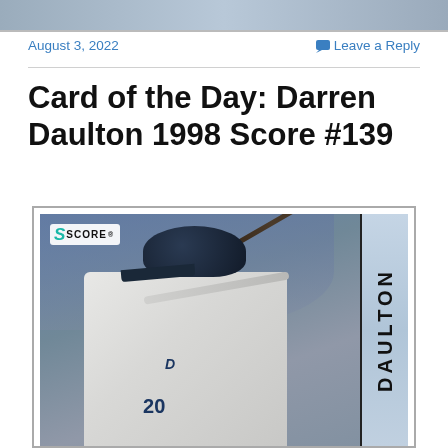[Figure (photo): Cropped top banner image from a blog or website header]
August 3, 2022
Leave a Reply
Card of the Day: Darren Daulton 1998 Score #139
[Figure (photo): 1998 Score baseball card #139 featuring Darren Daulton batting, wearing jersey number 20, with the Score logo in the top left and 'DAULTON' written vertically on the right side of the card]